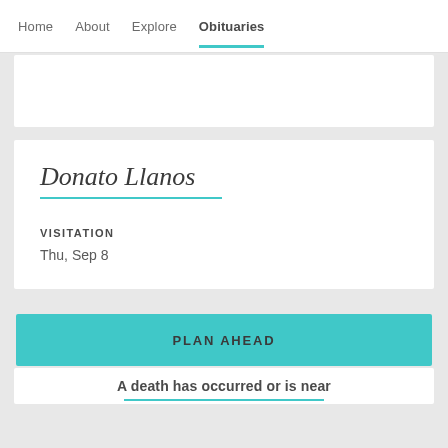Home  About  Explore  Obituaries
Donato Llanos
VISITATION
Thu, Sep 8
PLAN AHEAD
A death has occurred or is near